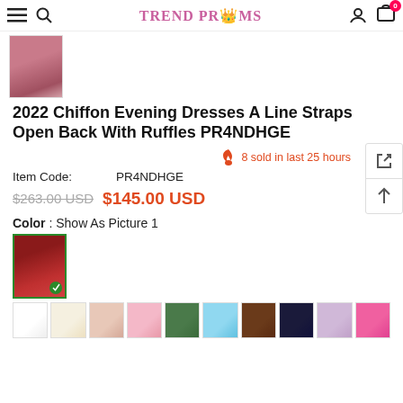TREND PROMS
[Figure (photo): Partial product photo thumbnail showing a pink/maroon dress]
2022 Chiffon Evening Dresses A Line Straps Open Back With Ruffles PR4NDHGE
8 sold in last 25 hours
Item Code: PR4NDHGE
$263.00 USD  $145.00 USD
Color : Show As Picture 1
[Figure (photo): Selected color swatch thumbnail showing a maroon/red dress with green checkmark]
[Figure (photo): Row of color swatches: white, cream, blush, pink, green, sky blue, brown, navy, lavender, hot pink]